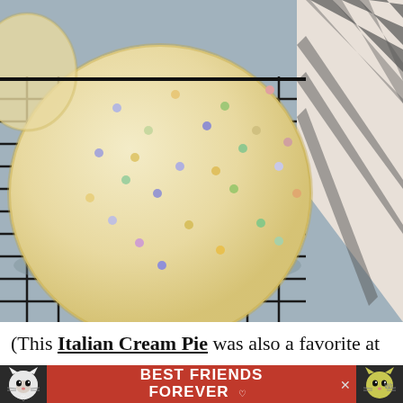[Figure (photo): Close-up overhead photo of a glazed cookie with colorful pastel sprinkles on a black wire cooling rack, with a gray and white striped cloth napkin in the upper right corner, set on a blue-gray surface.]
(This Italian Cream Pie was also a favorite at o...
[Figure (infographic): Red advertisement banner reading 'BEST FRIENDS FOREVER' with cartoon cat images on left and right sides and a close (X) button.]